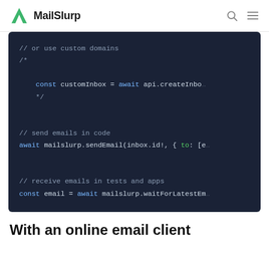MailSlurp
[Figure (screenshot): Dark-themed code editor block showing JavaScript code using MailSlurp API: comments about custom domains, sendEmail call, and waitForLatestEmail call]
With an online email client